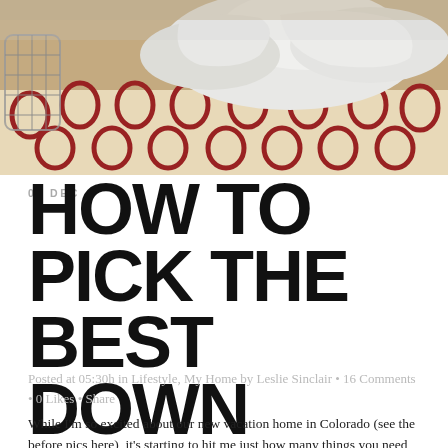[Figure (photo): Bedroom scene with white pillows and comforter on a patterned red and cream rug, with a metallic lantern on the left side]
HOW TO PICK THE BEST DOWN COMFORTER!
05 DEC
Posted at 05:30h in Lifestyle, My Home by Leslie Sinclair • 16 Comments • 0 Likes • Share
While I'm so excited about our new vacation home in Colorado (see the before pics here), it's starting to hit me just how many things you need in order to set up a